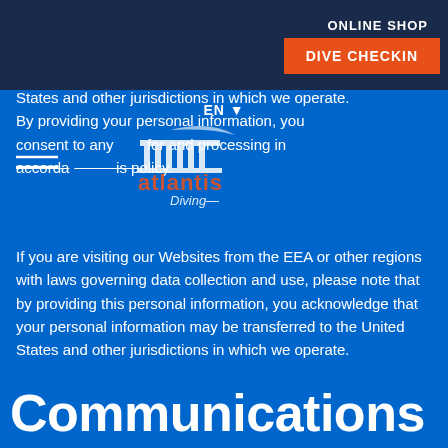ONLINE SHOP
DIVE CHECKIN
States and other jurisdictions in which we operate. By providing your personal information, you consent to any transfer and processing in accordance with this Policy.
If you are visiting our Websites from the EEA or other regions with laws governing data collection and use, please note that by providing this personal information, you acknowledge that your personal information may be transferred to the United States and other jurisdictions in which we operate.
Communications